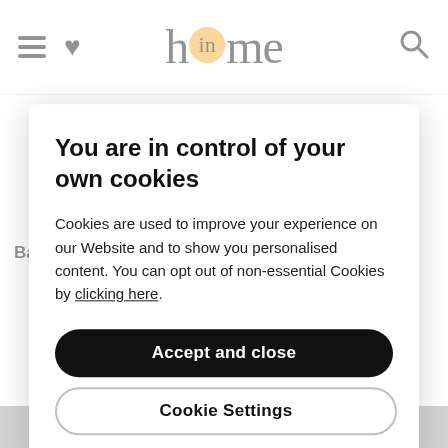home (inhome website navigation bar with hamburger, heart, and search icons)
[Figure (photo): Ballan Free Standing Bookcase product photo, partial view showing a metal bookcase with coloured binders on shelves]
Ballan Free Standing Bookcase - Graphite Black
You are in control of your own cookies
Cookies are used to improve your experience on our Website and to show you personalised content. You can opt out of non-essential Cookies by clicking here.
Accept and close
Cookie Settings
Join our mailing list